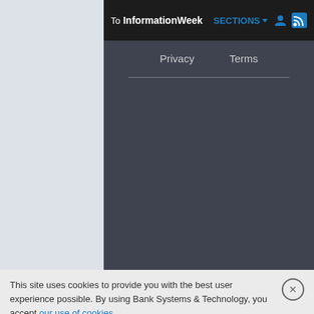To InformationWeek  SECTIONS
Privacy   Terms
[Figure (screenshot): Dark gray dropdown/menu panel area with a horizontal divider line]
This site uses cookies to provide you with the best user experience possible. By using Bank Systems & Technology, you accept our use of cookies.